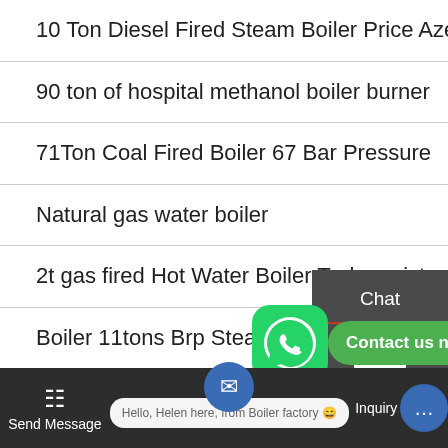10 Ton Diesel Fired Steam Boiler Price Azerbaijan
90 ton of hospital methanol boiler burner
71Ton Coal Fired Boiler 67 Bar Pressure
Natural gas water boiler
2t gas fired Hot Water Boiler Turkmenistan
Boiler 11tons Brp Steam Streamed Per Hour
Electric Boilers Use For Hot Water
4000 Kg hr Coal Fired Small Industrial Boiler
[Figure (screenshot): WhatsApp contact button overlay with green icon and 'Contact us now!' button]
[Figure (screenshot): Bottom navigation bar with Send Message, email icon, chat bubble 'Hello, Helen here, from Boiler factory', and Inquiry Online button]
Chat
Em...
Contact